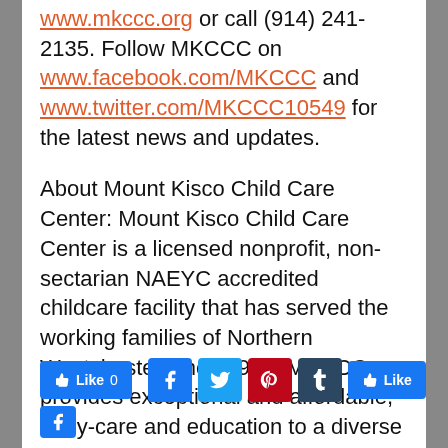www.mkccc.org or call (914) 241-2135. Follow MKCCC on www.facebook.com/MKCCC and www.twitter.com/MKCCC10549 for the latest news and updates.
About Mount Kisco Child Care Center: Mount Kisco Child Care Center is a licensed nonprofit, non-sectarian NAEYC accredited childcare facility that has served the working families of Northern Westchester since 1971. MKCCC provides exceptional and affordable, early-care and education to a diverse group of children three months to five years. The Center's expanded school-age program serves children up to 12 years of age.
[Figure (other): Social media buttons: Facebook Like button with count 0, Facebook icon, Twitter icon, Pinterest icon, Tumblr icon, and a Like button]